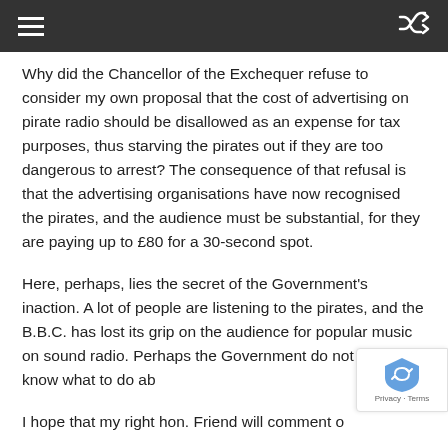Navigation bar with hamburger menu and shuffle icon
Why did the Chancellor of the Exchequer refuse to consider my own proposal that the cost of advertising on pirate radio should be disallowed as an expense for tax purposes, thus starving the pirates out if they are too dangerous to arrest? The consequence of that refusal is that the advertising organisations have now recognised the pirates, and the audience must be substantial, for they are paying up to £80 for a 30-second spot.
Here, perhaps, lies the secret of the Government's inaction. A lot of people are listening to the pirates, and the B.B.C. has lost its grip on the audience for popular music on sound radio. Perhaps the Government do not really know what to do abo
I hope that my right hon. Friend will comment on